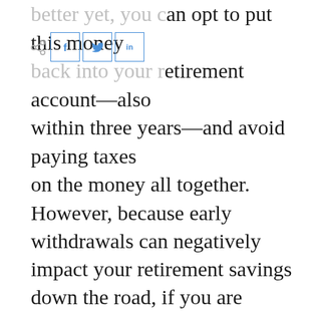better yet, you can opt to put this money back into your retirement account—also within three years—and avoid paying taxes on the money all together.
However, because early withdrawals can negatively impact your retirement savings down the road, if you are looking to take advantage of this provision, you should consult with us, as your Personal Family Lawyer®, and your financial advisor first. Also, note that employers are not required to participate in this provision of the CARES Act, so you'll also need to check with your plan administrator to see if it's available at your